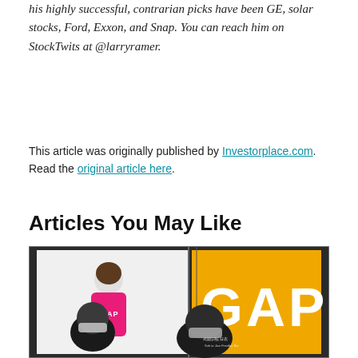his highly successful, contrarian picks have been GE, solar stocks, Ford, Exxon, and Snap. You can reach him on StockTwits at @larryramer.
This article was originally published by Investorplace.com. Read the original article here.
Articles You May Like
[Figure (photo): Photo of people walking in front of a GAP store display. A girl in a pink GAP hoodie is shown on a white advertisement panel on the left; the right side shows a large yellow panel with 'GAP' in white letters. People in the foreground wear face masks.]